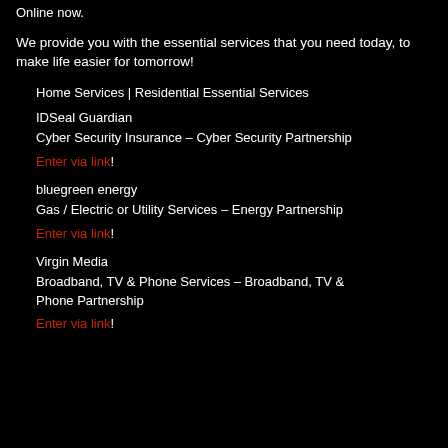Online now.
We provide you with the essential services that you need today, to make life easier for tomorrow!
Home Services | Residential Essential Services
IDSeal Guardian
Cyber Security Insurance – Cyber Security Partnership
Enter via link!
bluegreen energy
Gas / Electric or Utility Services – Energy Partnership
Enter via link!
Virgin Media
Broadband, TV & Phone Services – Broadband, TV & Phone Partnership
Enter via link!